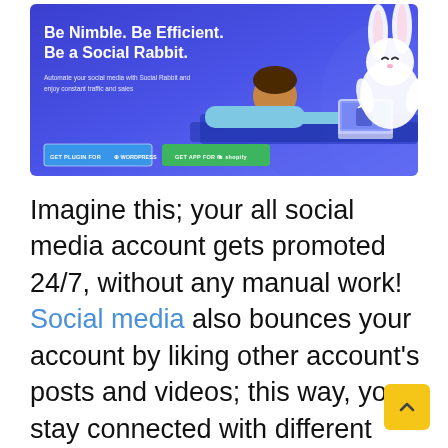[Figure (illustration): Advertisement banner for Social Rabbit plugin. Blue/purple gradient background. Text reads 'Be Nimble. Be Efficient. Be a Social Rabbit.' with subtext 'Automate your social media with Social Rabbit and enjoy constant traffic and sales'. Two buttons: 'GET PLUGIN FOR WORDPRESS' and 'GET APP FOR shopify'. Illustration of a person lying down using a laptop with a white rabbit character.]
Imagine this; your all social media account gets promoted 24/7, without any manual work! Social media also bounces your account by liking other account's posts and videos; this way, you stay connected with different audiences. It works with all social media platforms, i.e. Facebook